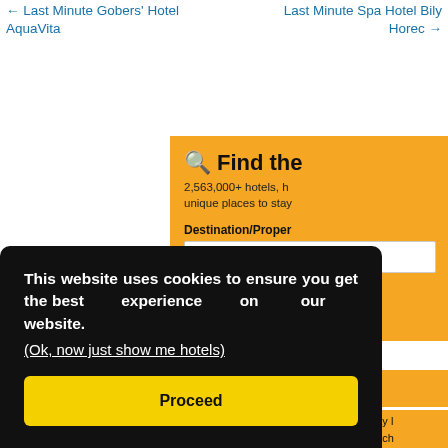← Last Minute Gobers' Hotel AquaVita
Last Minute Spa Hotel Bily Horec →
[Figure (screenshot): Booking.com search widget on orange background. Shows 'Find the' heading with magnifier icon, subtitle '2,563,000+ hotels, h... unique places to stay', Destination/Property input field with placeholder 'e.g. city, region, d', Check-in date section with calendar icon and dropdowns showing '21' and 'August', partially visible check-out date and other options below.]
This website uses cookies to ensure you get the best experience on our website.
(Ok, now just show me hotels)
Proceed